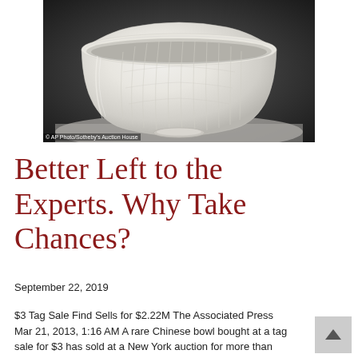[Figure (photo): A white ceramic Chinese bowl with lotus petal relief carvings, photographed against a dark gradient background. The bowl is shown from a front-facing slightly elevated angle, resting on a small foot ring.]
© AP Photo/Sotheby's Auction House
Better Left to the Experts. Why Take Chances?
September 22, 2019
$3 Tag Sale Find Sells for $2.22M The Associated Press Mar 21, 2013, 1:16 AM A rare Chinese bowl bought at a tag sale for $3 has sold at a New York auction for more than $2.22 million. The 1,000-